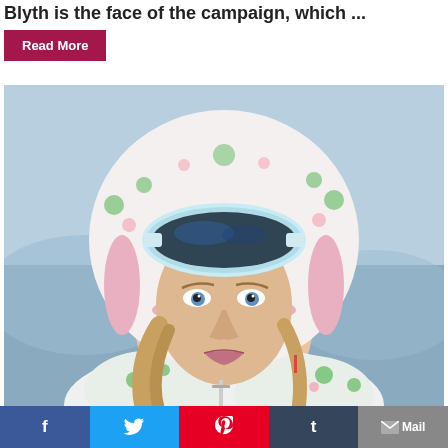Blyth is the face of the campaign, which ...
Read More
[Figure (photo): A woman wearing a floral ski jacket with hood up and blue ski goggles on her forehead, looking directly at the camera. Snowy mountain background.]
f  Twitter (bird icon)  Pinterest (P icon)  Tumblr (t icon)  Mail